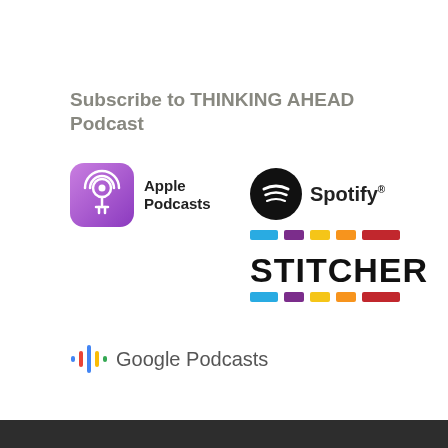Subscribe to THINKING AHEAD Podcast
[Figure (logo): Apple Podcasts logo with purple gradient icon and text 'Apple Podcasts']
[Figure (logo): Spotify logo with black circle and white sound wave icon and text 'Spotify']
[Figure (logo): Stitcher logo with colored horizontal bar segments and bold text 'STITCHER']
[Figure (logo): Google Podcasts logo with colorful vertical bar icon and text 'Google Podcasts']